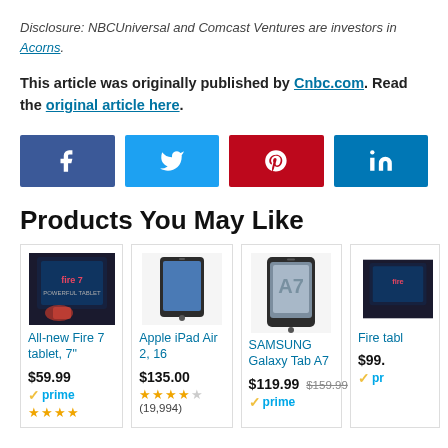Disclosure: NBCUniversal and Comcast Ventures are investors in Acorns.
This article was originally published by Cnbc.com. Read the original article here.
[Figure (infographic): Social sharing buttons: Facebook, Twitter, Pinterest, LinkedIn]
Products You May Like
[Figure (infographic): Product cards: All-new Fire 7 tablet 7" $59.99 prime, Apple iPad Air 2 16 $135.00 4.5 stars (19,994), SAMSUNG Galaxy Tab A7 $119.99 $159.99 prime, Fire tablet (partially visible) $99.]